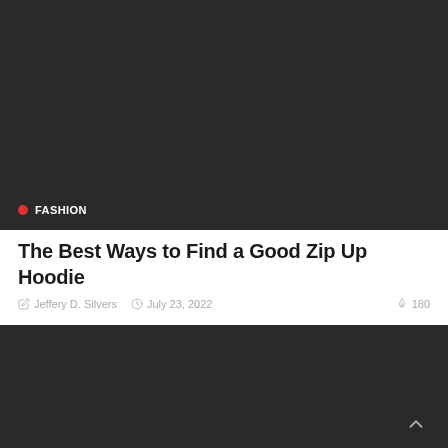[Figure (photo): Dark/black background image block at top of article card]
FASHION
The Best Ways to Find a Good Zip Up Hoodie
Jeffery D. Silvers   July 23, 2022   180
[Figure (photo): Dark/black background image block for second article card]